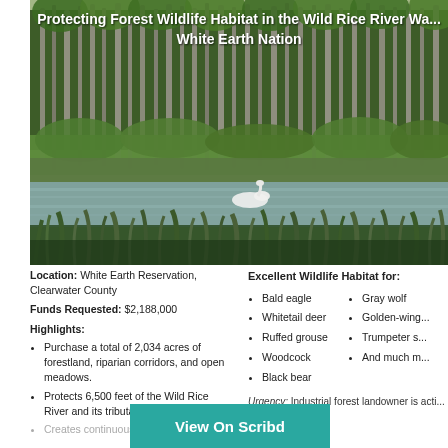[Figure (photo): Forest landscape with tall thin trees (likely aspen or birch), green undergrowth, wetland/river area with a swan visible, tall marsh grasses in foreground]
Protecting Forest Wildlife Habitat in the Wild Rice River Watershed, White Earth Nation
Location: White Earth Reservation, Clearwater County
Funds Requested: $2,188,000
Highlights:
Purchase a total of 2,034 acres of forestland, riparian corridors, and open meadows.
Protects 6,500 feet of the Wild Rice River and its tributaries.
Creates continuous forestland...
Excellent Wildlife Habitat for:
Bald eagle
Whitetail deer
Ruffed grouse
Woodcock
Black bear
Gray wolf
Golden-wing...
Trumpeter s...
And much m...
Urgency: Industrial forest landowner is acti... than 1,500 acres...